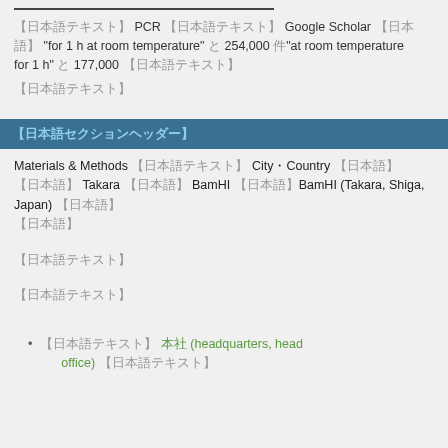【日本語テキスト】 PCR 【日本語テキスト】 Google Scholar 【日本語】「for 1 h at room temperature」と 254,000 件「at room temperature for 1 h」と 177,000 【日本語テキスト】
【日本語テキスト】
【日本語セクションヘッダー】
Materials & Methods 【日本語テキスト】 City・Country 【日本語】 Takara 【日本語】 BamHI 【日本語】BamHI (Takara, Shiga, Japan) 【日本語】
【日本語テキスト】
【日本語テキスト】
【日本語テキスト】 本社 (headquarters, head office) 【日本語テキスト】